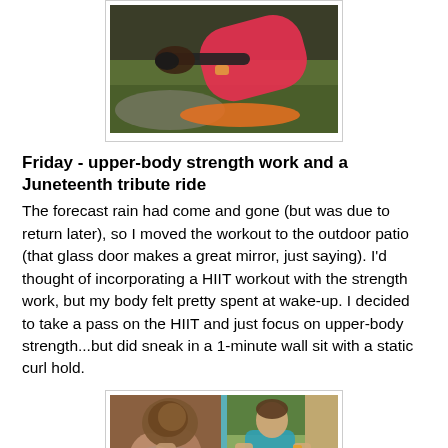[Figure (photo): Close-up photo of person in pink/red athletic top gripping bicycle handlebars with orange bicycle components visible, outdoor background with green grass]
Friday - upper-body strength work and a Juneteenth tribute ride
The forecast rain had come and gone (but was due to return later), so I moved the workout to the outdoor patio (that glass door makes a great mirror, just saying). I'd thought of incorporating a HIIT workout with the strength work, but my body felt pretty spent at wake-up. I decided to take a pass on the HIIT and just focus on upper-body strength...but did sneak in a 1-minute wall sit with a static curl hold.
[Figure (photo): Two-photo collage: left shows woman with hair in bun leaning forward in workout pose wearing teal top; right shows man in teal shirt doing wall sit exercise outdoors]